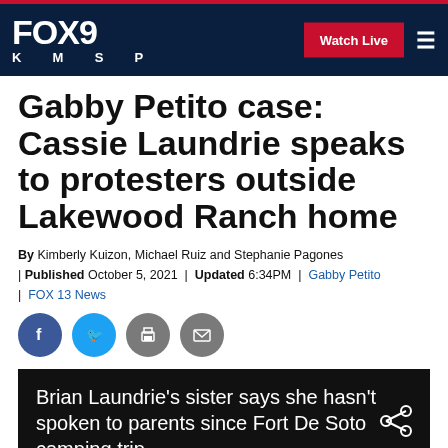FOX 9 KMSP | Watch Live
Gabby Petito case: Cassie Laundrie speaks to protesters outside Lakewood Ranch home
By Kimberly Kuizon, Michael Ruiz and Stephanie Pagones | Published October 5, 2021 | Updated 6:34PM | Gabby Petito | FOX 13 News
[Figure (other): Social media share icons: Facebook, Twitter, Print, Email]
[Figure (other): Video thumbnail with caption: Brian Laundrie's sister says she hasn't spoken to parents since Fort De Soto camping trip]